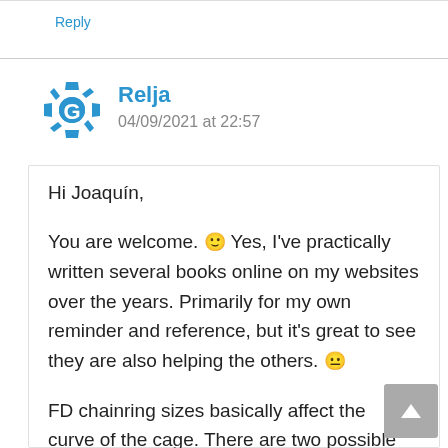Reply
Relja
04/09/2021 at 22:57
Hi Joaquín,

You are welcome. 🙂 Yes, I've practically written several books online on my websites over the years. Primarily for my own reminder and reference, but it's great to see they are also helping the others. 😐

FD chainring sizes basically affect the curve of the cage. There are two possible